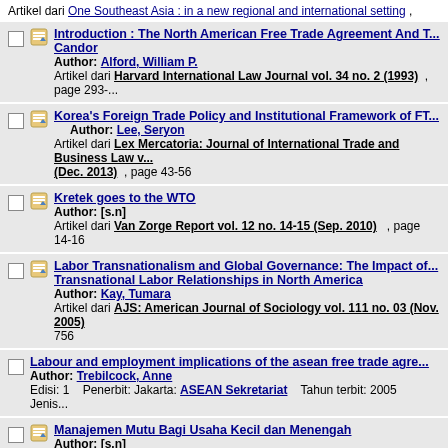Artikel dari One Southeast Asia : in a new regional and international setting ,
Introduction : The North American Free Trade Agreement And T... Candor
Author: Alford, William P.
Artikel dari Harvard International Law Journal vol. 34 no. 2 (1993) , page 293-...
Korea's Foreign Trade Policy and Institutional Framework of FT...
Author: Lee, Seryon
Artikel dari Lex Mercatoria: Journal of International Trade and Business Law v... (Dec. 2013) , page 43-56
Kretek goes to the WTO
Author: [s.n]
Artikel dari Van Zorge Report vol. 12 no. 14-15 (Sep. 2010) , page 14-16
Labor Transnationalism and Global Governance: The Impact of... Transnational Labor Relationships in North America
Author: Kay, Tumara
Artikel dari AJS: American Journal of Sociology vol. 111 no. 03 (Nov. 2005) 756
Labour and employment implications of the asean free trade agre...
Author: Trebilcock, Anne
Edisi: 1   Penerbit: Jakarta: ASEAN Sekretariat   Tahun terbit: 2005   Jenis...
Manajemen Mutu Bagi Usaha Kecil dan Menengah
Author: [s.n]
Artikel dari Wacana Mitra: media usaha kecil menengah makanan berbasis tep... 197 (2013) , page 5-6
Mari Pangestu, Trade Ministry.
Author: [s.n]
Artikel dari Van Zorge Report vol. 12 no. 7-8 (Mar. 2010) , page 30-38...